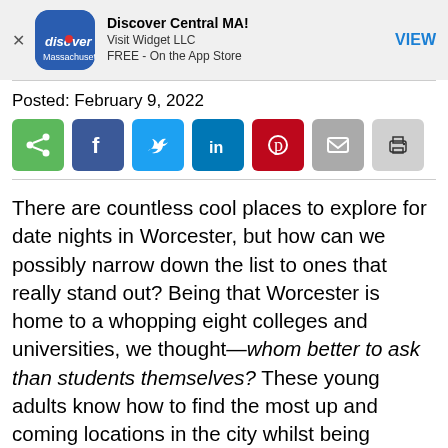[Figure (other): App advertisement banner for Discover Central MA! by Visit Widget LLC, FREE on the App Store, with a VIEW button]
Posted: February 9, 2022
[Figure (infographic): Social share buttons: share (green), Facebook (dark blue), Twitter (light blue), LinkedIn (blue), Pinterest (red), email (grey), print (light grey)]
There are countless cool places to explore for date nights in Worcester, but how can we possibly narrow down the list to ones that really stand out? Being that Worcester is home to a whopping eight colleges and universities, we thought—whom better to ask than students themselves? These young adults know how to find the most up and coming locations in the city whilst being mindful of what's in their wallets. Check out these seven hot spots.